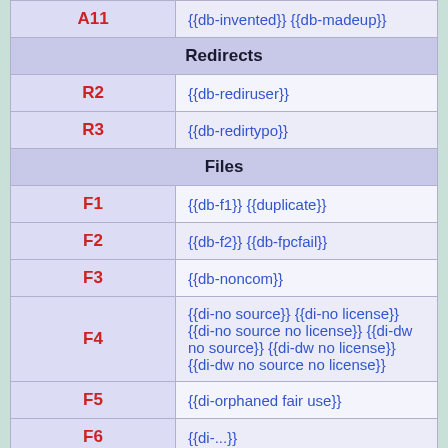| Code | Templates |
| --- | --- |
| A11 | {{db-invented}} {{db-madeup}} |
| Redirects |  |
| R2 | {{db-rediruser}} |
| R3 | {{db-redirtypo}} |
| Files |  |
| F1 | {{db-f1}} {{duplicate}} |
| F2 | {{db-f2}} {{db-fpcfail}} |
| F3 | {{db-noncom}} |
| F4 | {{di-no source}} {{di-no license}} {{di-no source no license}} {{di-dw no source}} {{di-dw no license}} {{di-dw no source no license}} |
| F5 | {{di-orphaned fair use}} |
| F6 | {{di-...}} |